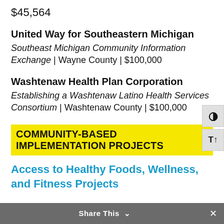$45,564
United Way for Southeastern Michigan
Southeast Michigan Community Information Exchange | Wayne County | $100,000
Washtenaw Health Plan Corporation
Establishing a Washtenaw Latino Health Services Consortium | Washtenaw County | $100,000
COMMUNITY-BASED IMPLEMENTATION PROJECTS
Access to Healthy Foods, Wellness, and Fitness Projects
Center for Health Research and Transformation (CHRT)
Home Nutrition+ Program | Washtenaw County |
Share This ∨  ×